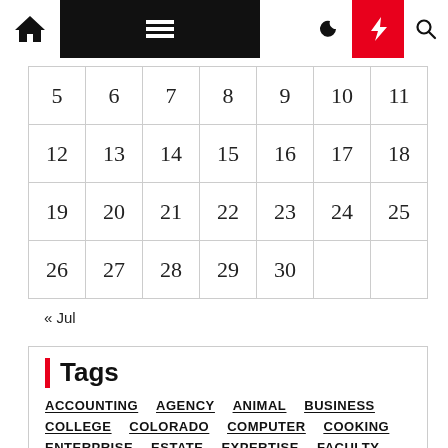[Figure (screenshot): Website navigation bar with home icon, hamburger menu on black background, moon icon, red lightning bolt icon, and search icon]
| 5 | 6 | 7 | 8 | 9 | 10 | 11 |
| 12 | 13 | 14 | 15 | 16 | 17 | 18 |
| 19 | 20 | 21 | 22 | 23 | 24 | 25 |
| 26 | 27 | 28 | 29 | 30 |  |  |
« Jul
Tags
ACCOUNTING
AGENCY
ANIMAL
BUSINESS
COLLEGE
COLORADO
COMPUTER
COOKING
ENTERPRISE
ESTATE
EXPERTISE
FACULTY